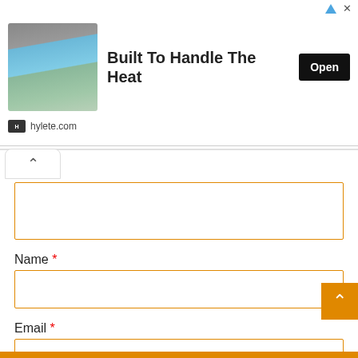[Figure (screenshot): Advertisement banner for hylete.com showing folded athletic shirts with text 'Built To Handle The Heat' and an 'Open' button]
Name *
Email *
I want to subscribe to the newsletter
I have read and accepted the Privacy Policy *
Through this form the data are treated with the only purpose of being able to manage your